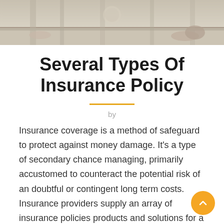[Figure (photo): Top portion of a photo showing what appears to be a hallway or floor with light-colored surfaces and shoes/feet visible]
Several Types Of Insurance Policy
by
Insurance coverage is a method of safeguard to protect against money damage. It's a type of secondary chance managing, primarily accustomed to counteract the potential risk of an doubtful or contingent long term costs. Insurance providers supply an array of insurance policies products and solutions for a variety of purposes. It may be so simple as providing coverage to protect against thievery or harm to home or as elaborate as